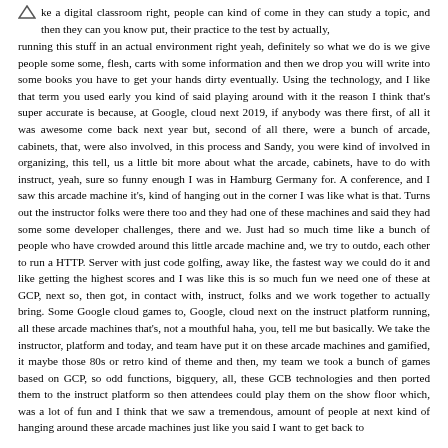ke a digital classroom right, people can kind of come in they can study a topic, and then they can you know put, their practice to the test by actually, running this stuff in an actual environment right yeah, definitely so what we do is we give people some some, flesh, carts with some information and then we drop you will write into some books you have to get your hands dirty eventually. Using the technology, and I like that term you used early you kind of said playing around with it the reason I think that's super accurate is because, at Google, cloud next 2019, if anybody was there first, of all it was awesome come back next year but, second of all there, were a bunch of arcade, cabinets, that, were also involved, in this process and Sandy, you were kind of involved in organizing, this tell, us a little bit more about what the arcade, cabinets, have to do with instruct, yeah, sure so funny enough I was in Hamburg Germany for. A conference, and I saw this arcade machine it's, kind of hanging out in the corner I was like what is that. Turns out the instructor folks were there too and they had one of these machines and said they had some some developer challenges, there and we. Just had so much time like a bunch of people who have crowded around this little arcade machine and, we try to outdo, each other to run a HTTP. Server with just code golfing, away like, the fastest way we could do it and like getting the highest scores and I was like this is so much fun we need one of these at GCP, next so, then got, in contact with, instruct, folks and we work together to actually bring. Some Google cloud games to, Google, cloud next on the instruct platform running, all these arcade machines that's, not a mouthful haha, you, tell me but basically. We take the instructor, platform and today, and team have put it on these arcade machines and gamified, it maybe those 80s or retro kind of theme and then, my team we took a bunch of games based on GCP, so odd functions, bigquery, all, these GCB technologies and then ported them to the instruct platform so then attendees could play them on the show floor which, was a lot of fun and I think that we saw a tremendous, amount of people at next kind of hanging around these arcade machines just like you said I want to get back to